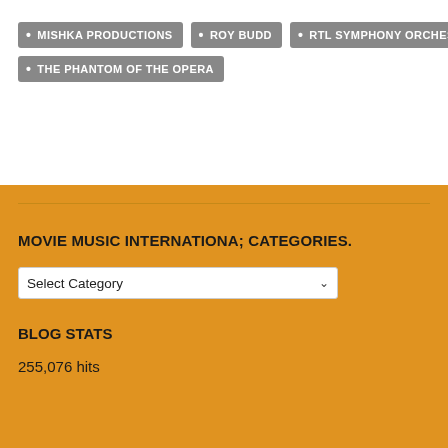• MISHKA PRODUCTIONS
• ROY BUDD
• RTL SYMPHONY ORCHESTRA
• THE PHANTOM OF THE OPERA
MOVIE MUSIC INTERNATIONA; CATEGORIES.
Select Category
BLOG STATS
255,076 hits